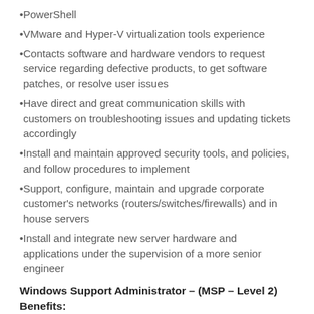PowerShell
VMware and Hyper-V virtualization tools experience
Contacts software and hardware vendors to request service regarding defective products, to get software patches, or resolve user issues
Have direct and great communication skills with customers on troubleshooting issues and updating tickets accordingly
Install and maintain approved security tools, and policies, and follow procedures to implement
Support, configure, maintain and upgrade corporate customer's networks (routers/switches/firewalls) and in house servers
Install and integrate new server hardware and applications under the supervision of a more senior engineer
Windows Support Administrator – (MSP – Level 2) Benefits:
$65k – $80k